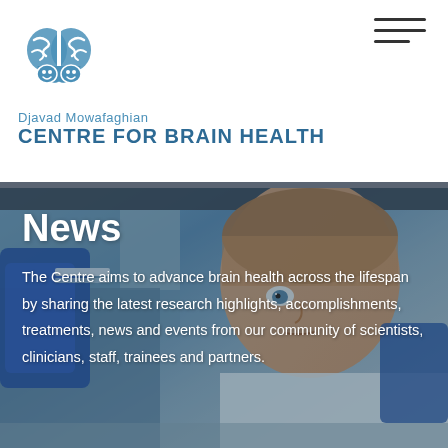[Figure (logo): Djavad Mowafaghian Centre for Brain Health brain logo in blue]
Djavad Mowafaghian CENTRE FOR BRAIN HEALTH
[Figure (photo): Male scientist in blue gloves examining a laboratory slide or sample, close-up photo in a lab setting]
News
The Centre aims to advance brain health across the lifespan by sharing the latest research highlights, accomplishments, treatments, news and events from our community of scientists, clinicians, staff, trainees and partners.